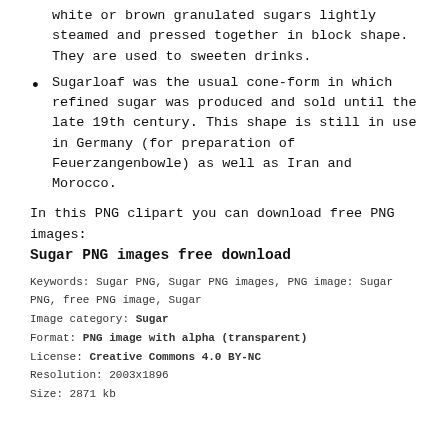white or brown granulated sugars lightly steamed and pressed together in block shape. They are used to sweeten drinks.
Sugarloaf was the usual cone-form in which refined sugar was produced and sold until the late 19th century. This shape is still in use in Germany (for preparation of Feuerzangenbowle) as well as Iran and Morocco.
In this PNG clipart you can download free PNG images:
Sugar PNG images free download
Keywords: Sugar PNG, Sugar PNG images, PNG image: Sugar PNG, free PNG image, Sugar
Image category: Sugar
Format: PNG image with alpha (transparent)
License: Creative Commons 4.0 BY-NC
Resolution: 2003x1896
Size: 2871 kb